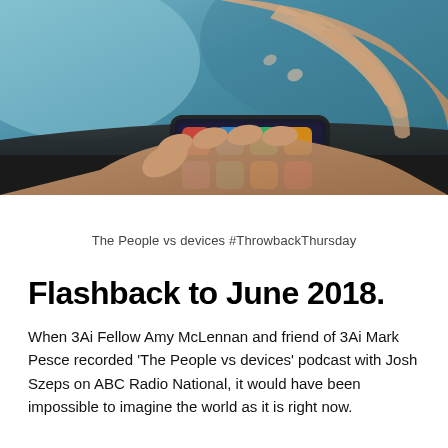[Figure (photo): Close-up photograph of a person's hands holding and using a smartphone on a dark table surface, with colorful app icons visible on the phone screen.]
The People vs devices #ThrowbackThursday
Flashback to June 2018.
When 3Ai Fellow Amy McLennan and friend of 3Ai Mark Pesce recorded 'The People vs devices' podcast with Josh Szeps on ABC Radio National, it would have been impossible to imagine the world as it is right now.